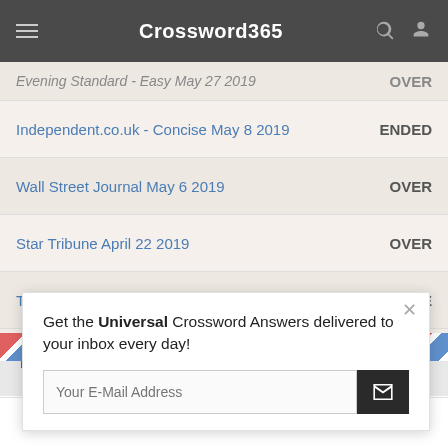Crossword365
| Puzzle | Status |
| --- | --- |
| Evening Standard - Easy May 27 2019 | OVER |
| Independent.co.uk - Concise May 8 2019 | ENDED |
| Wall Street Journal May 6 2019 | OVER |
| Star Tribune April 22 2019 | OVER |
| Thomas Joseph April 1 2019 | DONE |
| Thomas Joseph April 1 2019 | ENDEDUP |
Get the Universal Crossword Answers delivered to your inbox every day!
Your E-Mail Address
This website uses cookies to ensure you get the best experience on our website